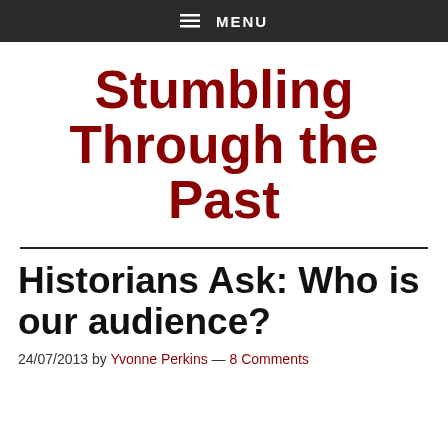MENU
Stumbling Through the Past
Historians Ask: Who is our audience?
24/07/2013 by Yvonne Perkins — 8 Comments